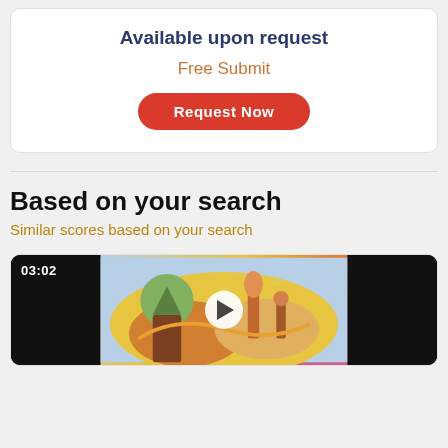Available upon request
Free Submit
Request Now
Based on your search
Similar scores based on your search
[Figure (screenshot): Video thumbnail showing a colorful illustrated artwork with a play button overlay and timestamp 03:02 in the top left corner.]